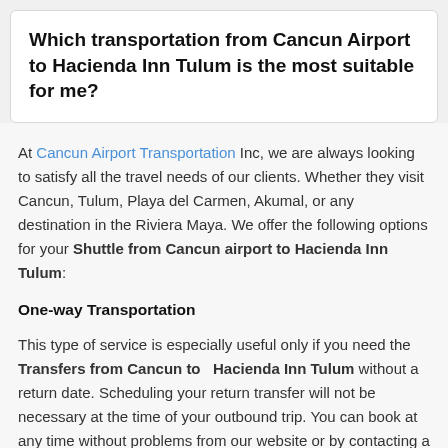Which transportation from Cancun Airport to Hacienda Inn Tulum is the most suitable for me?
At Cancun Airport Transportation Inc, we are always looking to satisfy all the travel needs of our clients. Whether they visit Cancun, Tulum, Playa del Carmen, Akumal, or any destination in the Riviera Maya. We offer the following options for your Shuttle from Cancun airport to Hacienda Inn Tulum:
One-way Transportation
This type of service is especially useful only if you need the Transfers from Cancun to  Hacienda Inn Tulum without a return date. Scheduling your return transfer will not be necessary at the time of your outbound trip. You can book at any time without problems from our website or by contacting a consultant.